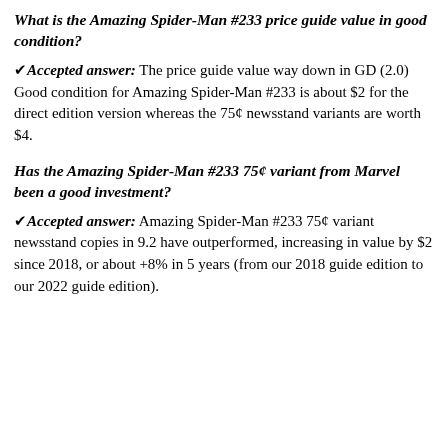What is the Amazing Spider-Man #233 price guide value in good condition?
✔ Accepted answer: The price guide value way down in GD (2.0) Good condition for Amazing Spider-Man #233 is about $2 for the direct edition version whereas the 75¢ newsstand variants are worth $4.
Has the Amazing Spider-Man #233 75¢ variant from Marvel been a good investment?
✔ Accepted answer: Amazing Spider-Man #233 75¢ variant newsstand copies in 9.2 have outperformed, increasing in value by $2 since 2018, or about +8% in 5 years (from our 2018 guide edition to our 2022 guide edition).